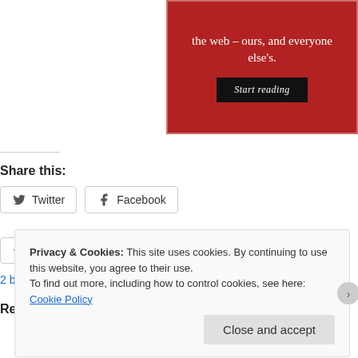[Figure (illustration): Red promotional banner with white serif text reading 'the web – ours, and everyone else's.' and a dark 'Start reading' button]
Share this:
Twitter  Facebook
[Figure (illustration): Like button with star icon and two blogger avatar thumbnails]
2 bloggers like this.
Re
Privacy & Cookies: This site uses cookies. By continuing to use this website, you agree to their use.
To find out more, including how to control cookies, see here: Cookie Policy
Close and accept